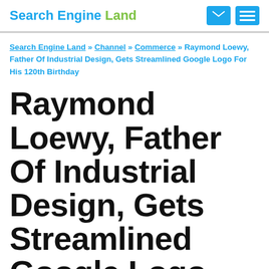Search Engine Land
Search Engine Land » Channel » Commerce » Raymond Loewy, Father Of Industrial Design, Gets Streamlined Google Logo For His 120th Birthday
Raymond Loewy, Father Of Industrial Design, Gets Streamlined Google Logo For His 120th Birthday